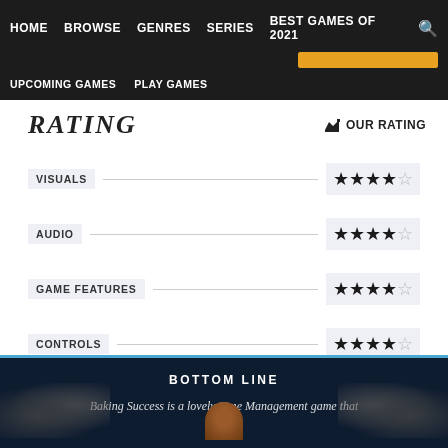HOME  BROWSE  GENRES  SERIES  BEST GAMES OF 2021
UPCOMING GAMES  PLAY GAMES
RATING
OUR RATING
VISUALS ★★★★☆
AUDIO ★★★★☆
GAME FEATURES ★★★★☆
CONTROLS ★★★★☆
FUN FACTOR ★★★★½
BOTTOM LINE
Baking Success is a lovely Time Management game that